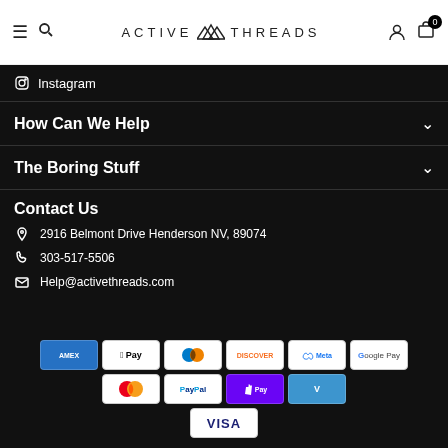Active Threads - navigation header with menu, search, logo, account and cart icons
Instagram
How Can We Help
The Boring Stuff
Contact Us
2916 Belmont Drive Henderson NV, 89074
303-517-5506
Help@activethreads.com
[Figure (other): Payment method icons: American Express, Apple Pay, Diners Club, Discover, Meta Pay, Google Pay, Mastercard, PayPal, Shop Pay, Venmo, Visa]